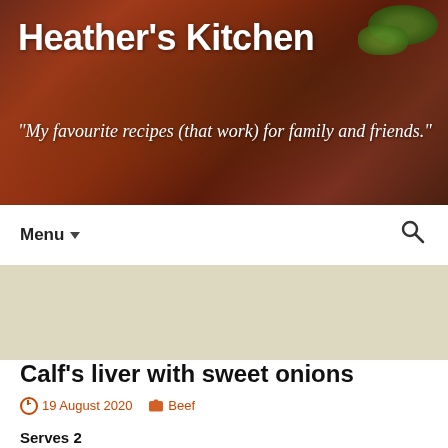Heather's Kitchen
"My favourite recipes (that work) for family and friends."
Menu
Category Archives: Beef
Calf's liver with sweet onions
19 August 2020   Beef
Serves 2
Ingredients